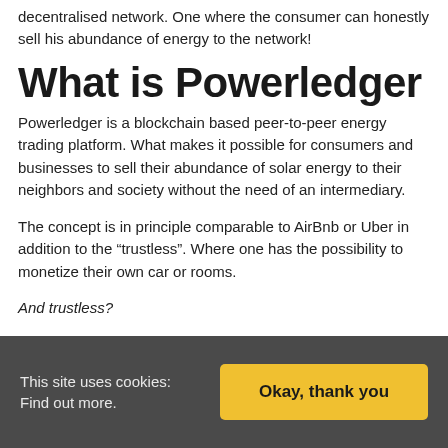decentralised network. One where the consumer can honestly sell his abundance of energy to the network!
What is Powerledger
Powerledger is a blockchain based peer-to-peer energy trading platform. What makes it possible for consumers and businesses to sell their abundance of solar energy to their neighbors and society without the need of an intermediary.
The concept is in principle comparable to AirBnb or Uber in addition to the “trustless”. Where one has the possibility to monetize their own car or rooms.
And trustless?
This site uses cookies: Find out more.
Okay, thank you